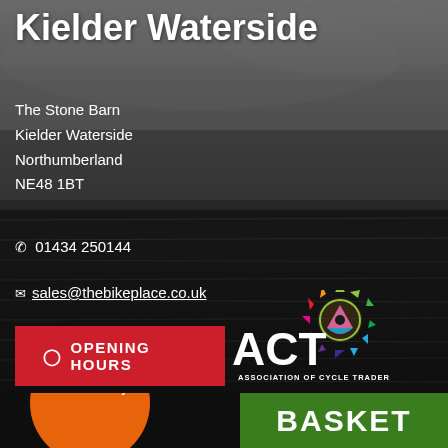Kielder Waterside
The Stone Barn
Kielder Waterside
Northumberland
NE48 1BT
☎ 01434 250144
✉ sales@thebikeplace.co.uk
⊙ OPENING HOURS
[Figure (logo): ACT - Association of Cycle Traders logo with colourful gear/sprocket graphic]
Featured by
BASKET